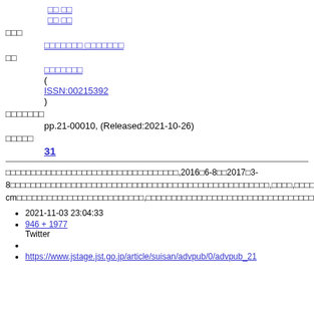著者名 (link)
著者名 (link)
所属
掲載誌・資料名 (link)
巻
巻号ページリンク (link)
( ISSN:00215392 )
発行・発表の年月
pp.21-00010, (Released:2021-10-26)
被引用文献数
31
Abstract text in Japanese with percentages 74%, 80%, 30%
2021-11-03 23:04:33
946 + 1977 Twitter
https://www.jstage.jst.go.jp/article/suisan/advpub/0/advpub_21